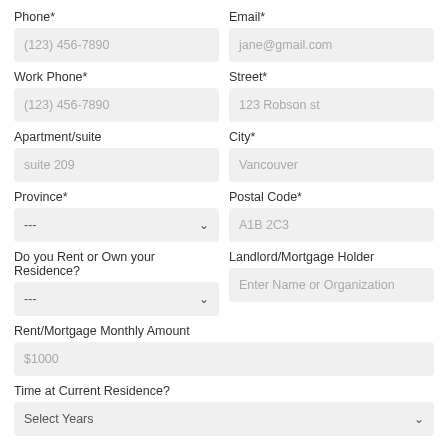Phone*
(123) 456-7890
Email*
jane@gmail.com
Work Phone*
(123) 456-7890
Street*
123 Robson st
Apartment/suite
suite 209
City*
Vancouver
Province*
---
Postal Code*
A1B 2C3
Do you Rent or Own your Residence?
---
Landlord/Mortgage Holder
Enter Name or Organization
Rent/Mortgage Monthly Amount
$1000
Time at Current Residence?
Select Years